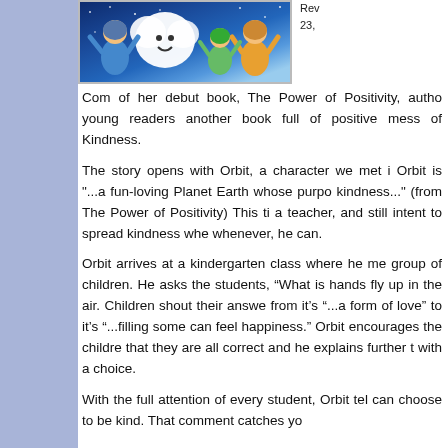[Figure (illustration): Illustrated book cover showing animated characters including a white cloud-like character and children against a blue starry background]
Rev 23,
Com of her debut book, The Power of Positivity, autho young readers another book full of positive mess of Kindness.
The story opens with Orbit, a character we met i Orbit is "...a fun-loving Planet Earth whose purpo kindness..." (from The Power of Positivity) This ti a teacher, and still intent to spread kindness whe whenever, he can.
Orbit arrives at a kindergarten class where he me group of children. He asks the students, “What is hands fly up in the air. Children shout their answe from it’s “...a form of love” to it’s “...filling some can feel happiness.” Orbit encourages the childre that they are all correct and he explains further t with a choice.
With the full attention of every student, Orbit tel can choose to be kind. That comment catches yo